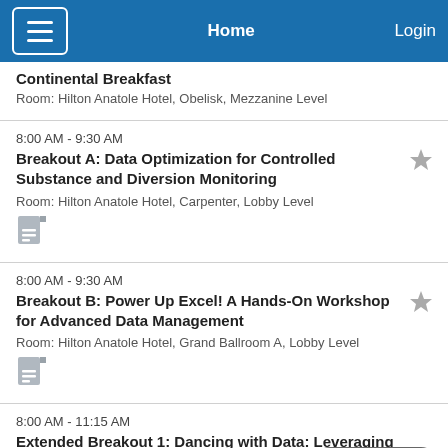Home | Login
Continental Breakfast
Room: Hilton Anatole Hotel, Obelisk, Mezzanine Level
8:00 AM - 9:30 AM
Breakout A: Data Optimization for Controlled Substance and Diversion Monitoring
Room: Hilton Anatole Hotel, Carpenter, Lobby Level
8:00 AM - 9:30 AM
Breakout B: Power Up Excel! A Hands-On Workshop for Advanced Data Management
Room: Hilton Anatole Hotel, Grand Ballroom A, Lobby Level
8:00 AM - 11:15 AM
Extended Breakout 1: Dancing with Data: Leveraging Your Data to Drive Business Growth